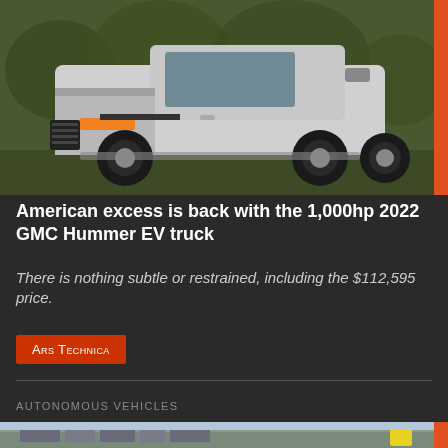[Figure (photo): White GMC Hummer EV pickup truck parked in a grassy outdoor setting with trees in background]
American excess is back with the 1,000hp 2022 GMC Hummer EV truck
There is nothing subtle or restrained, including the $112,595 price.
Ars Technica
AUTONOMOUS VEHICLES
[Figure (photo): Street scene with autonomous vehicle, partial view at bottom of page]